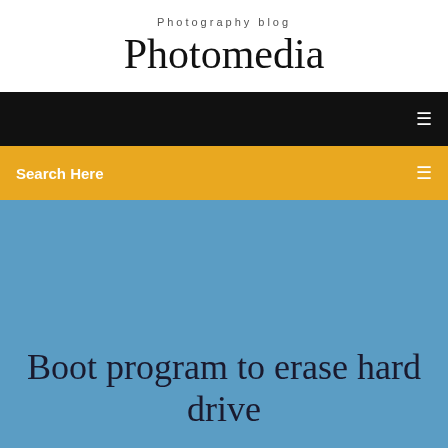Photography blog
Photomedia
[Figure (screenshot): Black navigation bar with hamburger menu icon on the right]
[Figure (screenshot): Gold/amber search bar with 'Search Here' text on the left and a filter icon on the right]
Boot program to erase hard drive